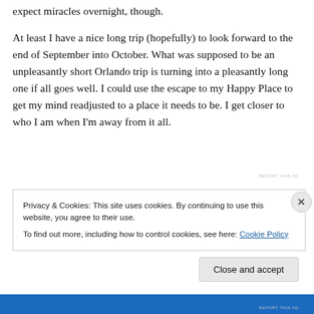expect miracles overnight, though.

At least I have a nice long trip (hopefully) to look forward to the end of September into October. What was supposed to be an unpleasantly short Orlando trip is turning into a pleasantly long one if all goes well. I could use the escape to my Happy Place to get my mind readjusted to a place it needs to be. I get closer to who I am when I'm away from it all.
REPORT THIS AD
Privacy & Cookies: This site uses cookies. By continuing to use this website, you agree to their use.
To find out more, including how to control cookies, see here: Cookie Policy
Close and accept